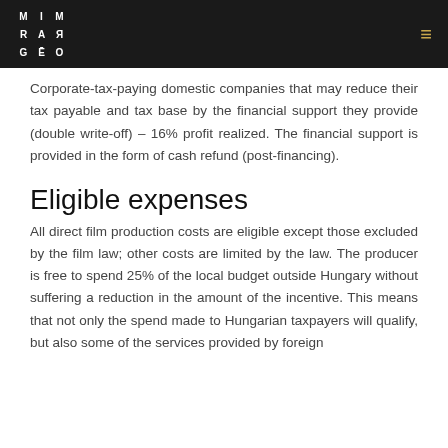MI MAR GEO [logo] ≡
Corporate-tax-paying domestic companies that may reduce their tax payable and tax base by the financial support they provide (double write-off) – 16% profit realized. The financial support is provided in the form of cash refund (post-financing).
Eligible expenses
All direct film production costs are eligible except those excluded by the film law; other costs are limited by the law. The producer is free to spend 25% of the local budget outside Hungary without suffering a reduction in the amount of the incentive. This means that not only the spend made to Hungarian taxpayers will qualify, but also some of the services provided by foreign